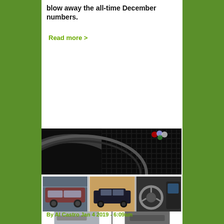blow away the all-time December numbers.
Read more >
[Figure (photo): Collage of car photos: large close-up of a dark vehicle grille with Buick logo at top, below are three thumbnails showing an SUV exterior, a Cadillac sedan on street, and a car interior/steering wheel, plus a partial strip of additional images at bottom.]
By Al Castro Jan 4 2019 - 6:09am